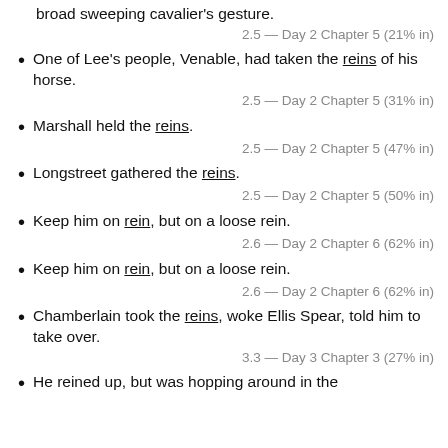broad sweeping cavalier's gesture.
2.5 — Day 2 Chapter 5 (21% in)
One of Lee's people, Venable, had taken the reins of his horse.
2.5 — Day 2 Chapter 5 (31% in)
Marshall held the reins.
2.5 — Day 2 Chapter 5 (47% in)
Longstreet gathered the reins.
2.5 — Day 2 Chapter 5 (50% in)
Keep him on rein, but on a loose rein.
2.6 — Day 2 Chapter 6 (62% in)
Keep him on rein, but on a loose rein.
2.6 — Day 2 Chapter 6 (62% in)
Chamberlain took the reins, woke Ellis Spear, told him to take over.
3.3 — Day 3 Chapter 3 (27% in)
He reined up, but was hopping around in the